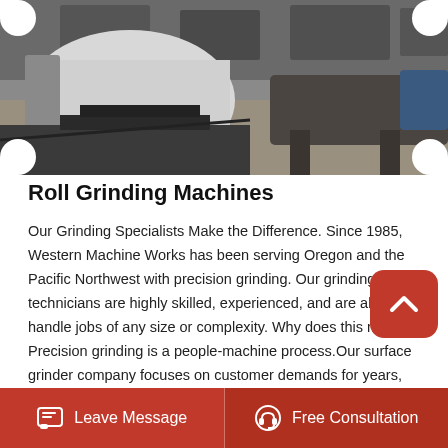[Figure (photo): Industrial roll grinding machine in a workshop/factory setting. Dark metallic machinery on a concrete floor.]
Roll Grinding Machines
Our Grinding Specialists Make the Difference. Since 1985, Western Machine Works has been serving Oregon and the Pacific Northwest with precision grinding. Our grinding technicians are highly skilled, experienced, and are able to handle jobs of any size or complexity. Why does this matter Precision grinding is a people-machine process.Our surface grinder company focuses on customer demands for years, providing the overall solutions for surface grinding machine and machining technology to maximize value-added services for customer.
Leave Message   Free Consultation